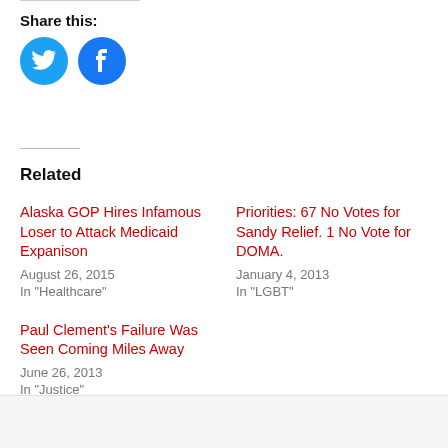Share this:
[Figure (illustration): Twitter and Facebook social share icon buttons as blue circles with white icons]
Related
Alaska GOP Hires Infamous Loser to Attack Medicaid Expanison
August 26, 2015
In "Healthcare"
Priorities: 67 No Votes for Sandy Relief. 1 No Vote for DOMA.
January 4, 2013
In "LGBT"
Paul Clement's Failure Was Seen Coming Miles Away
June 26, 2013
In "Justice"